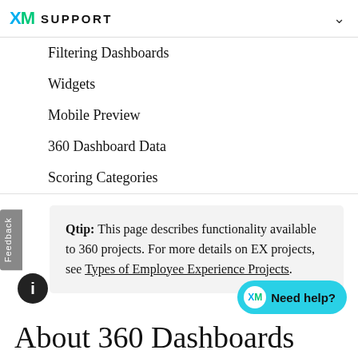XM SUPPORT
Filtering Dashboards
Widgets
Mobile Preview
360 Dashboard Data
Scoring Categories
Qtip: This page describes functionality available to 360 projects. For more details on EX projects, see Types of Employee Experience Projects.
About 360 Dashboards